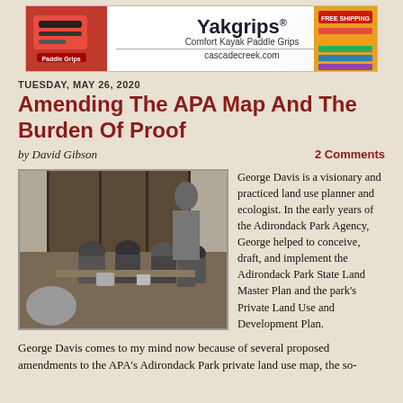[Figure (photo): Advertisement banner for Yakgrips Comfort Kayak Paddle Grips from cascadecreek.com, showing a red kayak paddle grip product on the left, the Yakgrips logo and text in the center, a free shipping badge, and colorful stripes on the right.]
TUESDAY, MAY 26, 2020
Amending The APA Map And The Burden Of Proof
by David Gibson
2 Comments
[Figure (photo): Black and white photograph of a man standing and speaking at what appears to be a hearing or meeting. Several people are seated at tables in the background.]
George Davis is a visionary and practiced land use planner and ecologist. In the early years of the Adirondack Park Agency, George helped to conceive, draft, and implement the Adirondack Park State Land Master Plan and the park's Private Land Use and Development Plan.
George Davis comes to my mind now because of several proposed amendments to the APA's Adirondack Park private land use map, the so-